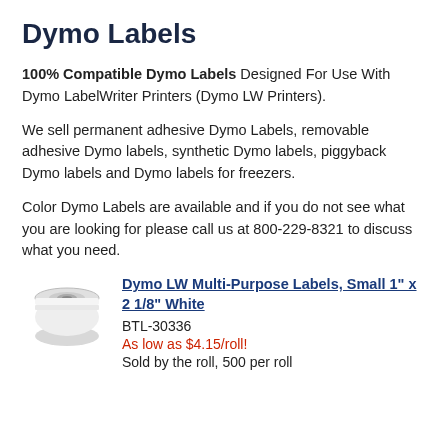Dymo Labels
100% Compatible Dymo Labels Designed For Use With Dymo LabelWriter Printers (Dymo LW Printers).
We sell permanent adhesive Dymo Labels, removable adhesive Dymo labels, synthetic Dymo labels, piggyback Dymo labels and Dymo labels for freezers.
Color Dymo Labels are available and if you do not see what you are looking for please call us at 800-229-8321 to discuss what you need.
[Figure (photo): Roll of white Dymo label tape]
Dymo LW Multi-Purpose Labels, Small 1" x 2 1/8" White
BTL-30336
As low as $4.15/roll!
Sold by the roll, 500 per roll